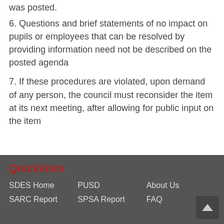6. Questions and brief statements of no impact on pupils or employees that can be resolved by providing information need not be described on the posted agenda
7. If these procedures are violated, upon demand of any person, the council must reconsider the item at its next meeting, after allowing for public input on the item
Quicklinks  SDES Home  PUSD  About Us  SARC Report  SPSA Report  FAQ